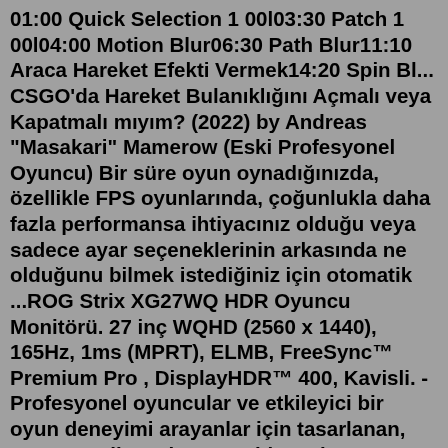01:00 Quick Selection 1 00l03:30 Patch 1 00l04:00 Motion Blur06:30 Path Blur11:10 Araca Hareket Efekti Vermek14:20 Spin Bl... CSGO'da Hareket Bulanıklığını Açmalı veya Kapatmalı mıyım? (2022) by Andreas "Masakari" Mamerow (Eski Profesyonel Oyuncu) Bir süre oyun oynadığınızda, özellikle FPS oyunlarında, çoğunlukla daha fazla performansa ihtiyacınız olduğu veya sadece ayar seçeneklerinin arkasında ne olduğunu bilmek istediğiniz için otomatik ...ROG Strix XG27WQ HDR Oyuncu Monitörü. 27 inç WQHD (2560 x 1440), 165Hz, 1ms (MPRT), ELMB, FreeSync™ Premium Pro , DisplayHDR™ 400, Kavisli. - Profesyonel oyuncular ve etkileyici bir oyun deneyimi arayanlar için tasarlanan, 165Hz yenileme hızına sahip 27 inç WQHD (2560x1440) Kavisli oyuncu monitörü. - ASUS Çok Düşük Hareket ...Hem Adobe Photoshop hem de Photoshop Lightroom'da son görüntünüze rötuş yapabilirsiniz ancak efekti daha da geliştirmeniz gerekiyorsa Photoshop'ta bir hareket bulanıklaştırma efekti de oluşturabilirsiniz. Nasıl